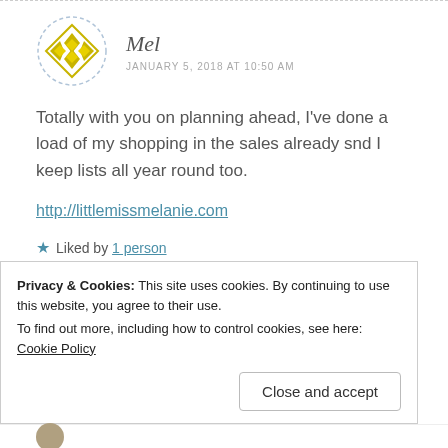[Figure (illustration): Decorative avatar icon: gold geometric diamond/star pattern in a dashed circle]
Mel
JANUARY 5, 2018 AT 10:50 AM
Totally with you on planning ahead, I've done a load of my shopping in the sales already snd I keep lists all year round too.
http://littlemissmelanie.com
★ Liked by 1 person
Privacy & Cookies: This site uses cookies. By continuing to use this website, you agree to their use.
To find out more, including how to control cookies, see here: Cookie Policy
Close and accept